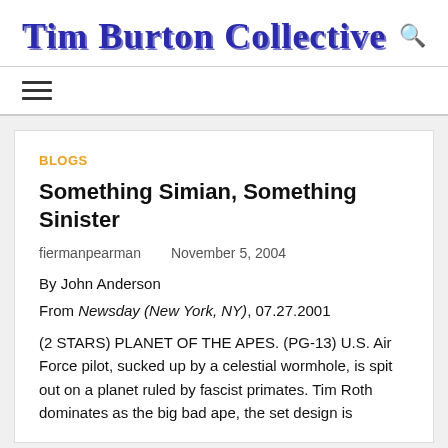Tim Burton Collective
BLOGS
Something Simian, Something Sinister
fiermanpearman    November 5, 2004
By John Anderson
From Newsday (New York, NY), 07.27.2001
(2 STARS) PLANET OF THE APES. (PG-13) U.S. Air Force pilot, sucked up by a celestial wormhole, is spit out on a planet ruled by fascist primates. Tim Roth dominates as the big bad ape, the set design is